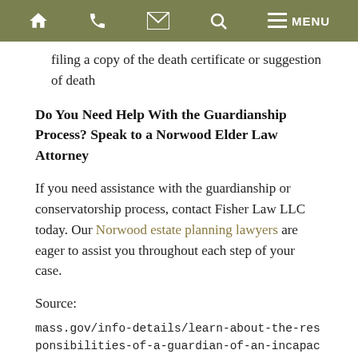Navigation bar with home, phone, email, search, menu icons
filing a copy of the death certificate or suggestion of death
Do You Need Help With the Guardianship Process? Speak to a Norwood Elder Law Attorney
If you need assistance with the guardianship or conservatorship process, contact Fisher Law LLC today. Our Norwood estate planning lawyers are eager to assist you throughout each step of your case.
Source:
mass.gov/info-details/learn-about-the-responsibilities-of-a-guardian-of-an-incapacitated-person